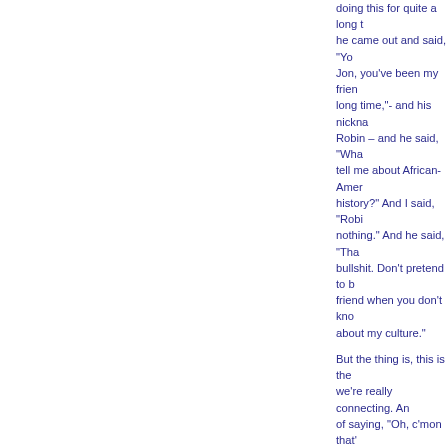doing this for quite a long time, he came out and said, "You know, Jon, you've been my friend for a long time,"- and his nickname is Robin – and he said, "What can you tell me about African-American history?" And I said, "Robin, nothing." And he said, "That's bullshit. Don't pretend to be my friend when you don't know anything about my culture."
But the thing is, this is the way we're really connecting. And instead of saying, "Oh, c'mon that's not fair." Or, "Our friendship's not based on that," I understood what he...
RAL: You understood him on a deeper level.
JK: Yes. He was saying to me, if we're friends and how come you haven't done this? How can you profess to be my friend and care about me as much as you do, but you don't know exactly what some of my feelings are"? And, interestingly enough, I could tell him so much about African-American...